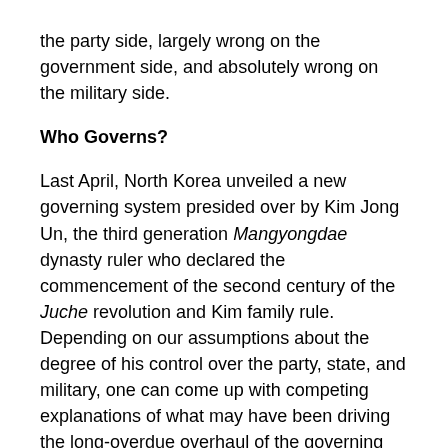the party side, largely wrong on the government side, and absolutely wrong on the military side.
Who Governs?
Last April, North Korea unveiled a new governing system presided over by Kim Jong Un, the third generation Mangyongdae dynasty ruler who declared the commencement of the second century of the Juche revolution and Kim family rule. Depending on our assumptions about the degree of his control over the party, state, and military, one can come up with competing explanations of what may have been driving the long-overdue overhaul of the governing system.
If one assumes that Kim Jong Un is in full control, the recent overhaul may mean that the succession is over: [2] he has arrived as the country's supreme leader in his own right. He has been granted a formidable number of